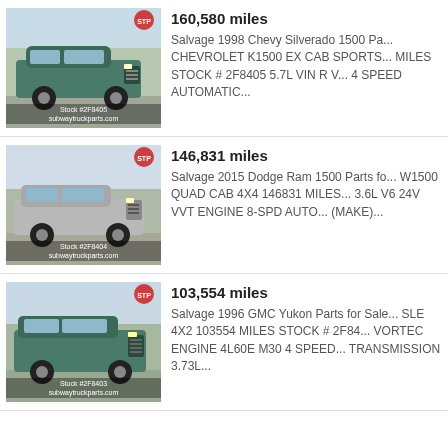[Figure (photo): Photo of a salvage 1998 Chevy Silverado 1500, teal/green, Stock #2F8405, subwaytruckparts.com]
160,580 miles
Salvage 1998 Chevy Silverado 1500 Pa... CHEVROLET K1500 EX CAB SPORTS... MILES STOCK # 2F8405 5.7L VIN R V... 4 SPEED AUTOMATIC...
[Figure (photo): Photo of a salvage 2015 Dodge Ram 1500, silver/gray, Stock #2F8404, subwaytruckparts.com]
146,831 miles
Salvage 2015 Dodge Ram 1500 Parts fo... W1500 QUAD CAB 4X4 146831 MILES... 3.6L V6 24V VVT ENGINE 8-SPD AUTO... (MAKE)...
[Figure (photo): Photo of a salvage 1996 GMC Yukon, teal/green, Stock #2F8403, subwaytruckparts.com]
103,554 miles
Salvage 1996 GMC Yukon Parts for Sale... SLE 4X2 103554 MILES STOCK # 2F84... VORTEC ENGINE 4L60E M30 4 SPEED... TRANSMISSION 3.73L...